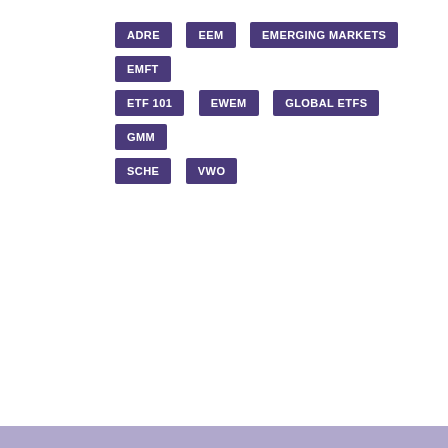ADRE
EEM
EMERGING MARKETS
EMFT
ETF 101
EWEM
GLOBAL ETFS
GMM
SCHE
VWO